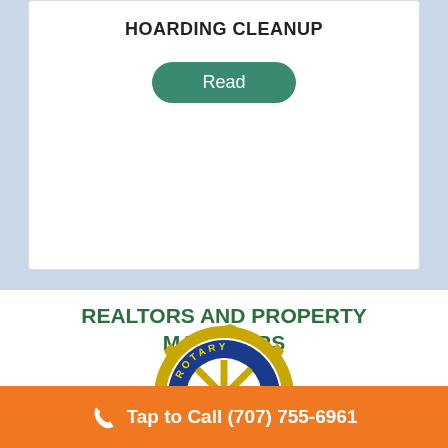HOARDING CLEANUP
Read
REALTORS AND PROPERTY MANAGERS LOVE US!
[Figure (logo): Rotary International gear wheel logo with blue ring and gold/yellow spokes, text ROTARY on the blue ring]
Tap to Call (707) 755-6961